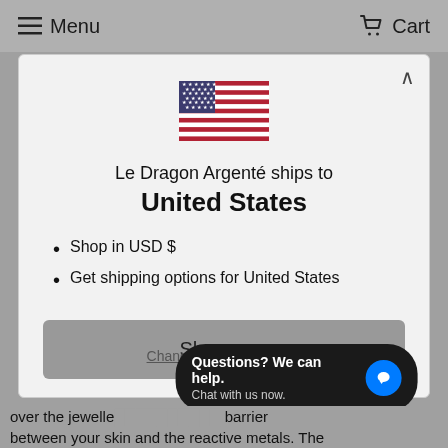Menu   Cart
[Figure (illustration): United States flag emoji/icon]
Le Dragon Argenté ships to United States
Shop in USD $
Get shipping options for United States
Shop now
Change shipping country
Questions? We can help. Chat with us now.
over the jewelle... barrier between your skin and the reactive metals. The